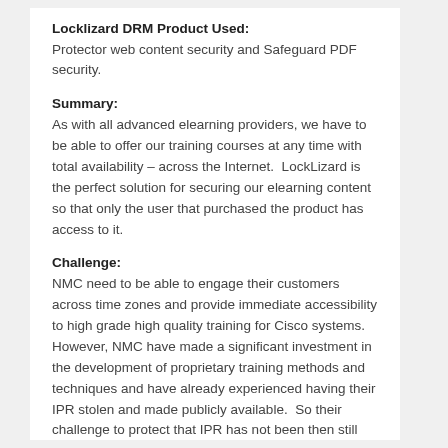Locklizard DRM Product Used:
Protector web content security and Safeguard PDF security.
Summary:
As with all advanced elearning providers, we have to be able to offer our training courses at any time with total availability – across the Internet.  LockLizard is the perfect solution for securing our elearning content so that only the user that purchased the product has access to it.
Challenge:
NMC need to be able to engage their customers across time zones and provide immediate accessibility to high grade high quality training for Cisco systems.  However, NMC have made a significant investment in the development of proprietary training methods and techniques and have already experienced having their IPR stolen and made publicly available.  So their challenge to protect that IPR has not been then still